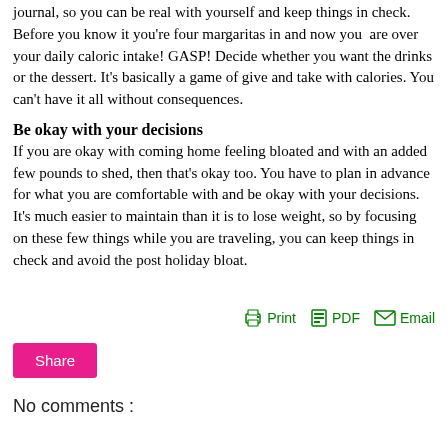journal, so you can be real with yourself and keep things in check. Before you know it you're four margaritas in and now you are over your daily caloric intake! GASP! Decide whether you want the drinks or the dessert. It's basically a game of give and take with calories. You can't have it all without consequences.
Be okay with your decisions
If you are okay with coming home feeling bloated and with an added few pounds to shed, then that's okay too. You have to plan in advance for what you are comfortable with and be okay with your decisions. It's much easier to maintain than it is to lose weight, so by focusing on these few things while you are traveling, you can keep things in check and avoid the post holiday bloat.
Print  PDF  Email
Share
No comments :